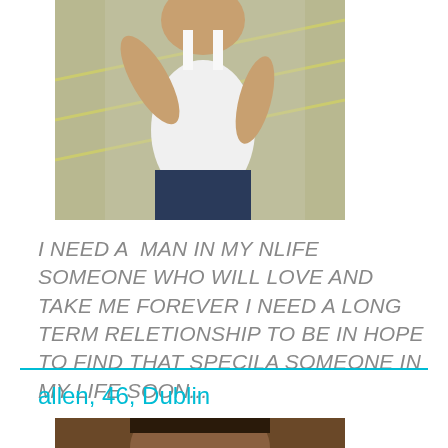[Figure (photo): Partial photo of a woman in a white tank top in a parking lot, cropped at top]
I NEED A  MAN IN MY NLIFE SOMEONE WHO WILL LOVE AND TAKE ME FOREVER I NEED A LONG TERM RELETIONSHIP TO BE IN HOPE TO FIND THAT SPECILA SOMEONE IN MY LIFE SOON...
allen, 46, Dublin
[Figure (photo): Photo of a man with dark short hair smiling, cropped at bottom of page]